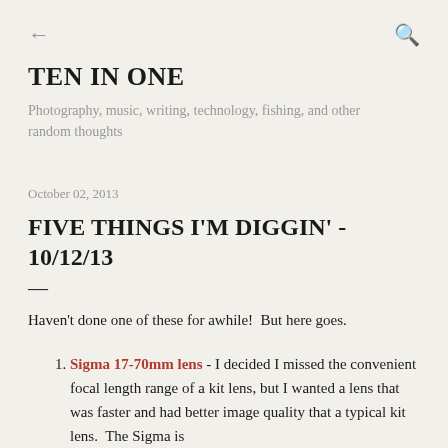← (back) Q (search)
TEN IN ONE
Photography, music, writing, technology, fishing, and other random thoughts
October 02, 2013
FIVE THINGS I'M DIGGIN' - 10/12/13
Haven't done one of these for awhile!  But here goes.
Sigma 17-70mm lens - I decided I missed the convenient focal length range of a kit lens, but I wanted a lens that was faster and had better image quality that a typical kit lens.  The Sigma is